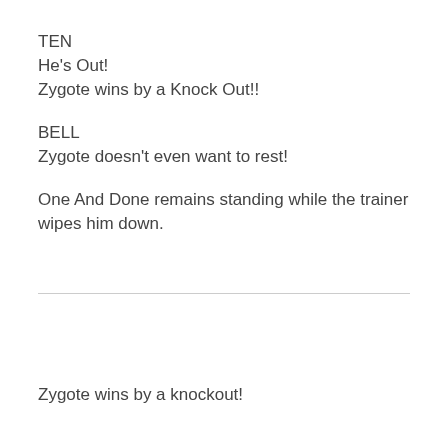TEN
He's Out!
Zygote wins by a Knock Out!!
BELL
Zygote doesn't even want to rest!
One And Done remains standing while the trainer wipes him down.
Zygote wins by a knockout!